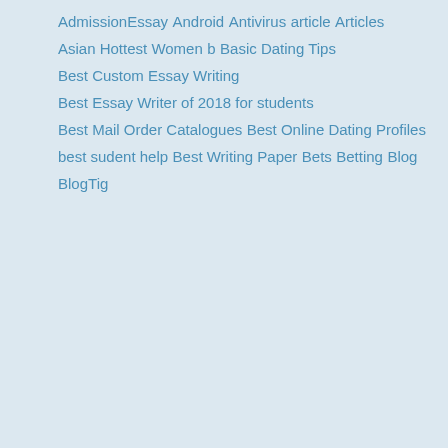AdmissionEssay
Android
Antivirus
article
Articles
Asian Hottest Women
b
Basic Dating Tips
Best Custom Essay Writing
Best Essay Writer of 2018 for students
Best Mail Order Catalogues
Best Online Dating Profiles
best sudent help
Best Writing Paper
Bets
Betting
Blog
BlogTig